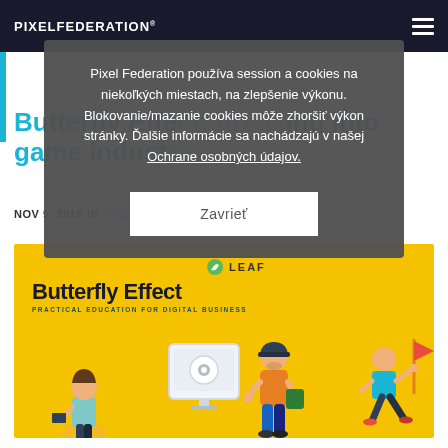PIXELFEDERATION®
Pixel Federation používa session a cookies na niekoľkých miestach, na zlepšenie výkonu. Blokovanie/mazanie cookies môže zhoršiť výkon stránky. Ďalšie informácie sa nachádzajú v našej Ochrane osobných údajov.
Zavrieť
Butterfly Effect: breaking into game industry
NOV 9, 2018 IN PIXEL LIFE
[Figure (illustration): Yellow background promotional image for 'Butterfly Effect' LEAF program with illustrated characters including people and a computer screen with a game icon]